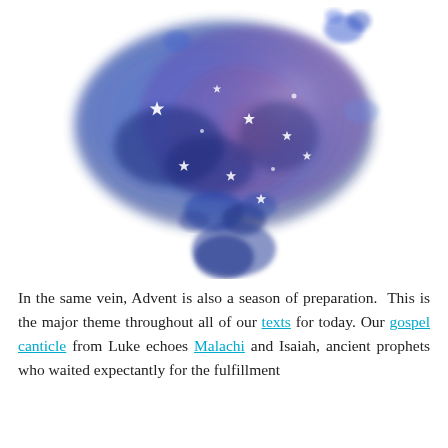[Figure (illustration): Watercolor painting of a heart shape made with blue, purple, and pink watercolor splashes, with small white star cutouts scattered throughout the heart.]
In the same vein, Advent is also a season of preparation. This is the major theme throughout all of our texts for today. Our gospel canticle from Luke echoes Malachi and Isaiah, ancient prophets who waited expectantly for the fulfillment